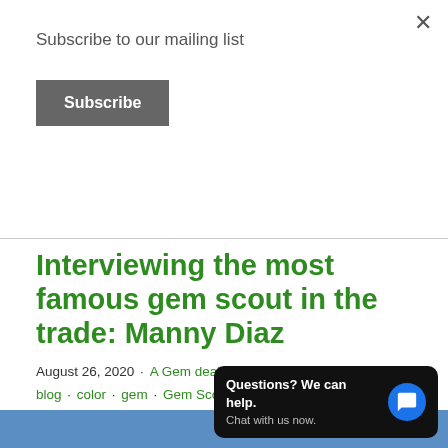Subscribe to our mailing list
Subscribe
Interviewing the most famous gem scout in the trade: Manny Diaz
August 26, 2020 · A Gem dealers journal · Asia Lounges · blog · color · gem · Gem Scout · gemological laboratory · gems · gemstome · Gemstone · interview · Lapidary · Manny Diaz · Marines · Natural Gems · one of a kind · origin · rough · Simon Dussart · the making of a gem · USMC
[Figure (photo): Blue image strip at bottom of page]